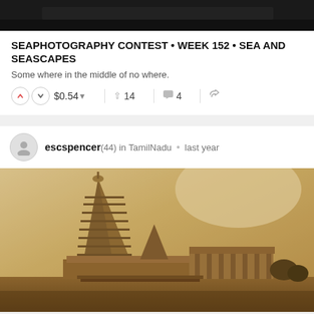[Figure (photo): Dark header image at top of page]
SEAPHOTOGRAPHY CONTEST • WEEK 152 • SEA AND SEASCAPES
Some where in the middle of no where.
$0.54 ▾   ▲ 14   💬 4   ⇄
escspencer (44) in TamilNadu • last year
[Figure (photo): Sepia-toned photo of a large South Indian Hindu temple (Brihadeeswarar Temple, TamilNadu) with a tall gopuram tower against a bright sky]